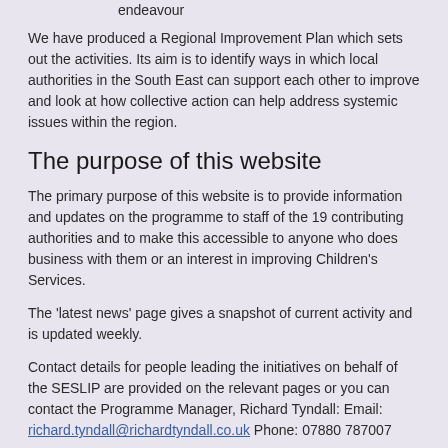endeavour
We have produced a Regional Improvement Plan which sets out the activities. Its aim is to identify ways in which local authorities in the South East can support each other to improve and look at how collective action can help address systemic issues within the region.
The purpose of this website
The primary purpose of this website is to provide information and updates on the programme to staff of the 19 contributing authorities and to make this accessible to anyone who does business with them or an interest in improving Children's Services.
The 'latest news' page gives a snapshot of current activity and is updated weekly.
Contact details for people leading the initiatives on behalf of the SESLIP are provided on the relevant pages or you can contact the Programme Manager, Richard Tyndall: Email: richard.tyndall@richardtyndall.co.uk Phone: 07880 787007